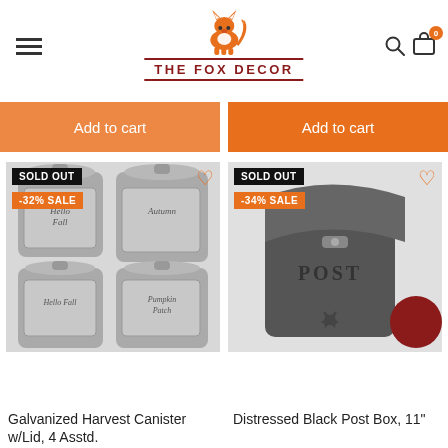[Figure (logo): The Fox Decor logo with orange fox illustration and dark red text on horizontal lines]
Add to cart
Add to cart
[Figure (photo): Four galvanized harvest canisters with lids, labeled Autumn, Hello Fall, Pumpkin Patch. SOLD OUT badge and -32% SALE badge.]
[Figure (photo): Distressed Black Post Box, 11 inch, with SOLD OUT badge and -34% SALE badge. POST embossed on front.]
Galvanized Harvest Canister w/Lid, 4 Asstd.
Distressed Black Post Box, 11"